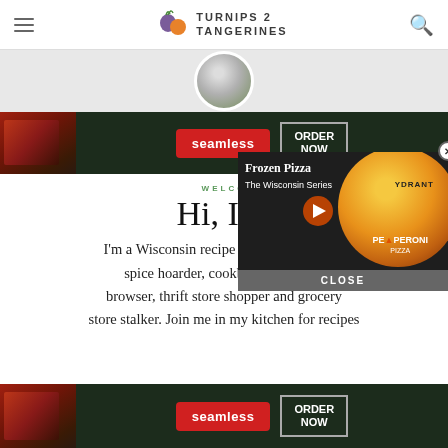TURNIPS 2 TANGERINES
[Figure (photo): Profile photo of blog author in a circular frame, partially visible at top]
[Figure (screenshot): Seamless food delivery advertisement banner with pizza image on left, red Seamless badge in center, and ORDER NOW button on right, dark background]
WELCOME
Hi, I'm
I'm a Wisconsin recipe bl... spice hoarder, cookboo... browser, thrift store shopper and grocery store stalker. Join me in my kitchen for recipes
[Figure (screenshot): Video popup overlay showing Frozen Pizza HYDRANT The Wisconsin Series with a pepperoni pizza, play button, and CLOSE bar at bottom]
[Figure (screenshot): Seamless food delivery advertisement banner at bottom, same as top banner]